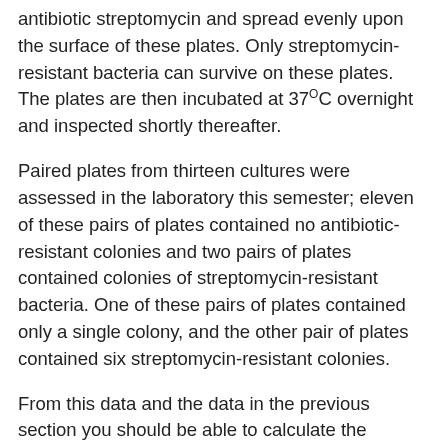antibiotic streptomycin and spread evenly upon the surface of these plates. Only streptomycin-resistant bacteria can survive on these plates. The plates are then incubated at 37°C overnight and inspected shortly thereafter.
Paired plates from thirteen cultures were assessed in the laboratory this semester; eleven of these pairs of plates contained no antibiotic-resistant colonies and two pairs of plates contained colonies of streptomycin-resistant bacteria. One of these pairs of plates contained only a single colony, and the other pair of plates contained six streptomycin-resistant colonies.
From this data and the data in the previous section you should be able to calculate the mutation rate, which is defined as the number of mutations conferring streptomycin-resistance divided by the total number of bacteria. (The total number of bacteria is